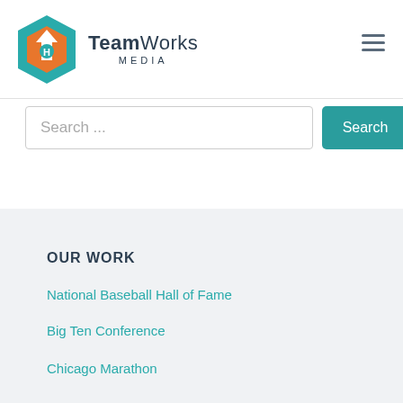TeamWorks MEDIA
Search ...
OUR WORK
National Baseball Hall of Fame
Big Ten Conference
Chicago Marathon